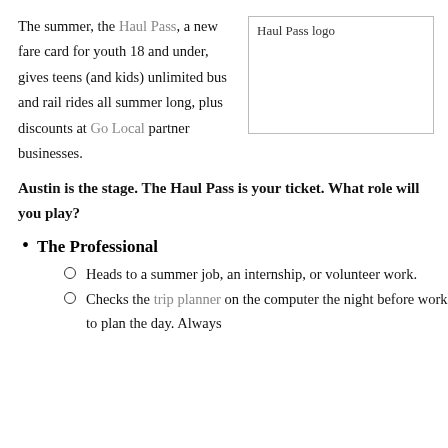The summer, the Haul Pass, a new fare card for youth 18 and under, gives teens (and kids) unlimited bus and rail rides all summer long, plus discounts at Go Local partner businesses.
[Figure (logo): Haul Pass logo image placeholder with alt text 'Haul Pass logo']
Austin is the stage. The Haul Pass is your ticket. What role will you play?
The Professional
Heads to a summer job, an internship, or volunteer work.
Checks the trip planner on the computer the night before work to plan the day. Always